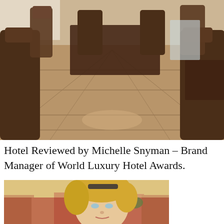[Figure (photo): Interior of a hotel dining area with wooden chairs and marble/stone tiled floor, viewed from low angle]
Hotel Reviewed by Michelle Snyman – Brand Manager of World Luxury Hotel Awards.
[Figure (photo): Portrait of a blonde woman with sunglasses on her head, photographed outdoors with rooftops and sky in background]